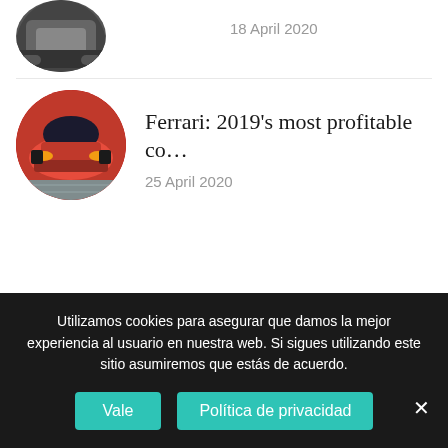[Figure (photo): Circular cropped photo of a dark car (partially visible), top of page]
18 April 2020
[Figure (photo): Circular cropped photo of a red Ferrari LaFerrari, front view]
Ferrari: 2019’s most profitable co…
25 April 2020
Utilizamos cookies para asegurar que damos la mejor experiencia al usuario en nuestra web. Si sigues utilizando este sitio asumiremos que estás de acuerdo.
Vale
Política de privacidad